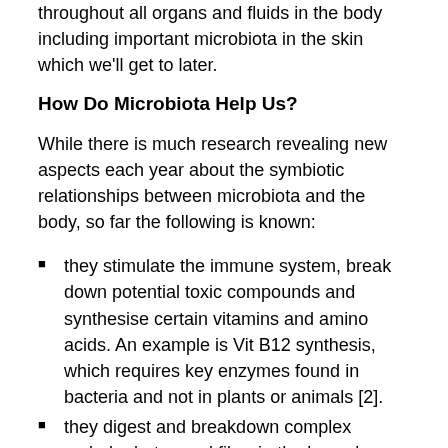throughout all organs and fluids in the body including important microbiota in the skin which we'll get to later.
How Do Microbiota Help Us?
While there is much research revealing new aspects each year about the symbiotic relationships between microbiota and the body, so far the following is known:
they stimulate the immune system, break down potential toxic compounds and synthesise certain vitamins and amino acids. An example is Vit B12 synthesis, which requires key enzymes found in bacteria and not in plants or animals [2].
they digest and breakdown complex carbohydrates and fibre in the lower large intestine.
They form short chain fatty acids (SCFA) – an